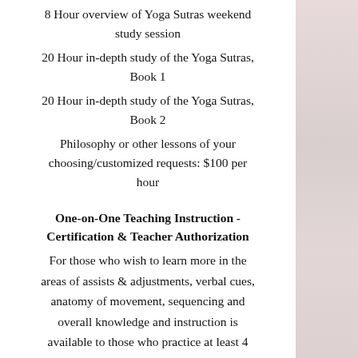8 Hour overview of Yoga Sutras weekend study session
20 Hour in-depth study of the Yoga Sutras, Book 1
20 Hour in-depth study of the Yoga Sutras, Book 2
Philosophy or other lessons of your choosing/customized requests: $100 per hour
One-on-One Teaching Instruction - Certification & Teacher Authorization
For those who wish to learn more in the areas of assists & adjustments, verbal cues, anatomy of movement, sequencing and overall knowledge and instruction is available to those who practice at least 4